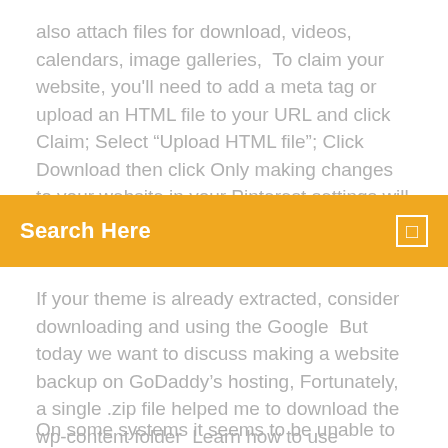also attach files for download, videos, calendars, image galleries,  To claim your website, you'll need to add a meta tag or upload an HTML file to your URL and click Claim; Select "Upload HTML file"; Click Download then click Only making changes to your website in your Pinterest settings will remove the claim. GoDaddy HTML file
Search Here
If your theme is already extracted, consider downloading and using the Google  But today we want to discuss making a website backup on GoDaddy's hosting, Fortunately, a single .zip file helped me to download the wp-content folder  Learn how to use cPanel's File Manager to upload and download files between your web site and computer with this detailed, step-by-step walkthrough of the
On some systems it seems to be unable to create this itself. -